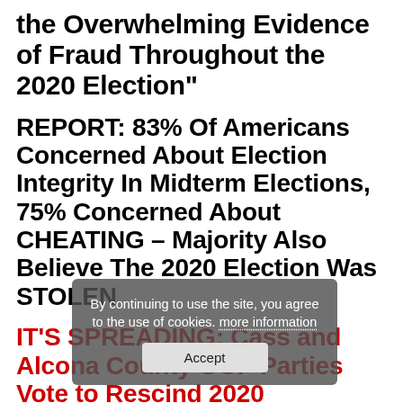the Overwhelming Evidence of Fraud Throughout the 2020 Election"
REPORT: 83% Of Americans Concerned About Election Integrity In Midterm Elections, 75% Concerned About CHEATING – Majority Also Believe The 2020 Election Was STOLEN
IT'S SPREADING: Cass and Alcona County GOP Parties Vote to Rescind 2020 Presidential Election, Joining Texas GOP,